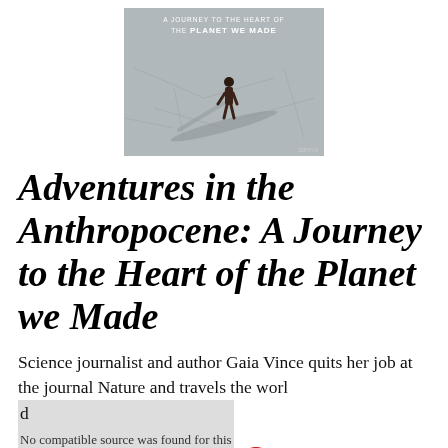[Figure (photo): Book cover of 'Adventures in the Anthropocene: A Journey to the Heart of the Planet We Made' showing a person walking on a flat, cracked grey surface with a long shadow, text at top in white uppercase letters.]
Adventures in the Anthropocene: A Journey to the Heart of the Planet we Made
Science journalist and author Gaia Vince quits her job at the journal Nature and travels the world [No compatible source was found for this media. — video overlay with red circle]